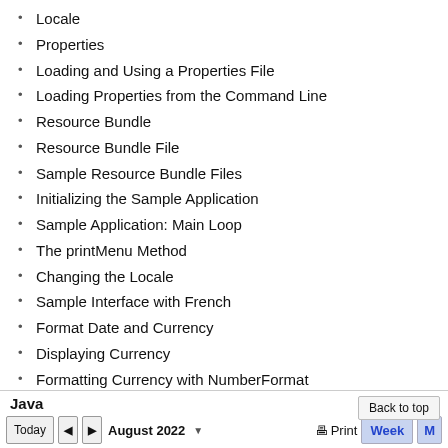Locale
Properties
Loading and Using a Properties File
Loading Properties from the Command Line
Resource Bundle
Resource Bundle File
Sample Resource Bundle Files
Initializing the Sample Application
Sample Application: Main Loop
The printMenu Method
Changing the Locale
Sample Interface with French
Format Date and Currency
Displaying Currency
Formatting Currency with NumberFormat
Displaying Dates 2
Displaying Dates with DateTimeFormatter
Format Styles
Java  Today  August 2022  Print  Week  M  Back to top